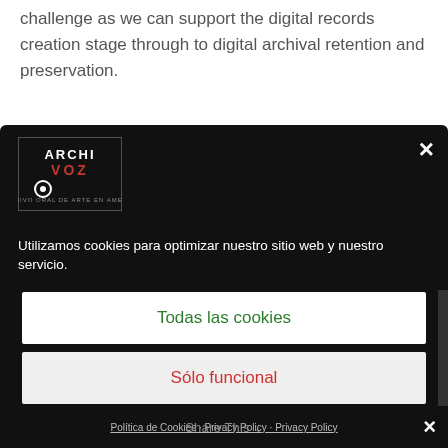challenge as we can support the digital records creation stage through to digital archival retention and preservation.
NIDA has evolved over the past 60 years and will continue to do so. As such the NIDA Archives and
[Figure (logo): ArchiVoz logo - black and white logo with text ARCHI VOZ and a microphone/circle icon]
Utilizamos cookies para optimizar nuestro sitio web y nuestro servicio.
Todas las cookies
Sólo funcional
Ver preferencias
Política de Cookies · Privacy Policy · Privacy Policy
Share This